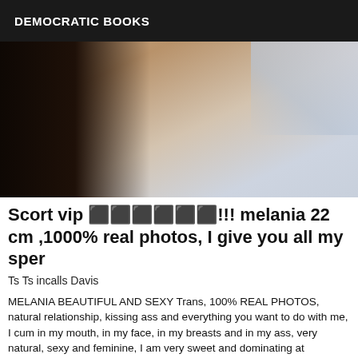DEMOCRATIC BOOKS
[Figure (photo): Close-up photo of a person lying on a bed with light blue bedding, wearing black clothing, partial body view]
Scort vip ⬛⬛⬛⬛⬛⬛!!! melania 22 cm ,1000% real photos, I give you all my sper
Ts Ts incalls Davis
MELANIA BEAUTIFUL AND SEXY Trans, 100% REAL PHOTOS, natural relationship, kissing ass and everything you want to do with me, I cum in my mouth, in my face, in my breasts and in my ass, very natural, sexy and feminine, I am very sweet and dominating at